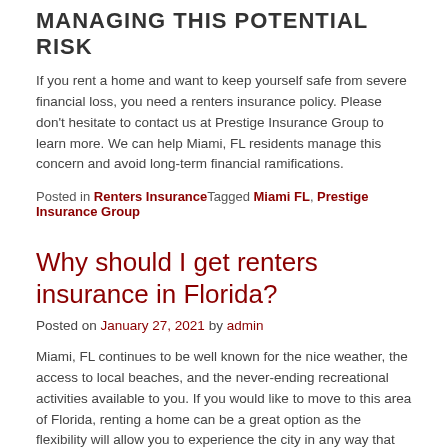MANAGING THIS POTENTIAL RISK
If you rent a home and want to keep yourself safe from severe financial loss, you need a renters insurance policy. Please don't hesitate to contact us at Prestige Insurance Group to learn more. We can help Miami, FL residents manage this concern and avoid long-term financial ramifications.
Posted in Renters Insurance Tagged Miami FL, Prestige Insurance Group
Why should I get renters insurance in Florida?
Posted on January 27, 2021 by admin
Miami, FL continues to be well known for the nice weather, the access to local beaches, and the never-ending recreational activities available to you. If you would like to move to this area of Florida, renting a home can be a great option as the flexibility will allow you to experience the city in any way that you want. If you are going to rent here, you will need to get renters insurance. There are many reasons that this coverage is